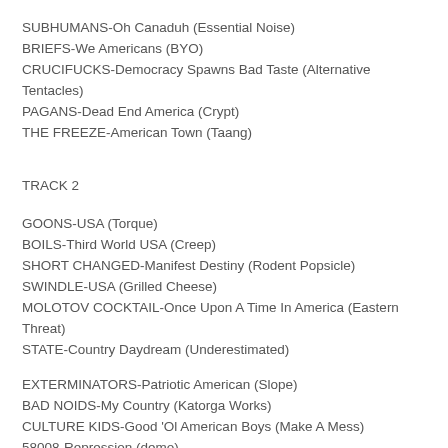SUBHUMANS-Oh Canaduh (Essential Noise)
BRIEFS-We Americans (BYO)
CRUCIFUCKS-Democracy Spawns Bad Taste (Alternative Tentacles)
PAGANS-Dead End America (Crypt)
THE FREEZE-American Town (Taang)
TRACK 2
GOONS-USA (Torque)
BOILS-Third World USA (Creep)
SHORT CHANGED-Manifest Destiny (Rodent Popsicle)
SWINDLE-USA (Grilled Cheese)
MOLOTOV COCKTAIL-Once Upon A Time In America (Eastern Threat)
STATE-Country Daydream (Underestimated)
EXTERMINATORS-Patriotic American (Slope)
BAD NOIDS-My Country (Katorga Works)
CULTURE KIDS-Good 'Ol American Boys (Make A Mess)
58008-Repression (demo)